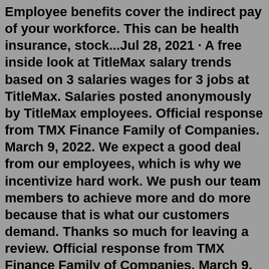Employee benefits cover the indirect pay of your workforce. This can be health insurance, stock...Jul 28, 2021 · A free inside look at TitleMax salary trends based on 3 salaries wages for 3 jobs at TitleMax. Salaries posted anonymously by TitleMax employees. Official response from TMX Finance Family of Companies. March 9, 2022. We expect a good deal from our employees, which is why we incentivize hard work. We push our team members to achieve more and do more because that is what our customers demand. Thanks so much for leaving a review. Official response from TMX Finance Family of Companies. March 9, 2022. We expect a good deal from our employees, which is why we incentivize hard work. We push our team members to achieve more and do more because that is what our customers demand. Thanks so much for leaving a review. Go to Titlemax Employee Login page via official link below. Step 2. Login using your username and password. Login screen appears upon successful login. Step 3. If you still can't access Titlemax Employee Login then